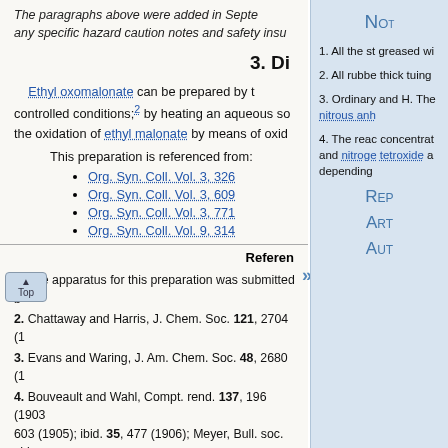The paragraphs above were added in September 2000 to include any specific hazard caution notes and safety instructions.
3. Di
Ethyl oxomalonate can be prepared by the controlled conditions; by heating an aqueous so the oxidation of ethyl malonate by means of oxid
This preparation is referenced from:
Org. Syn. Coll. Vol. 3, 326
Org. Syn. Coll. Vol. 3, 609
Org. Syn. Coll. Vol. 3, 771
Org. Syn. Coll. Vol. 9, 314
References
1. The apparatus for this preparation was submitted b
2. Chattaway and Harris, J. Chem. Soc. 121, 2704 (1
3. Evans and Waring, J. Am. Chem. Soc. 48, 2680 (1
4. Bouveault and Wahl, Compt. rend. 137, 196 (1903 603 (1905); ibid. 35, 477 (1906); Meyer, Bull. soc. chim
5. Astin, Newman, and Riley, J. Chem. Soc. 1933, 393
A
Chemical Abstracts Nomen
(Regis
Notes
1. All the st greased wi
2. All rubbe thick tuing
3. Ordinary and H. The nitrous anh
4. The reac concentrat and nitroge tetroxide a depending
Rep
Art
Aut